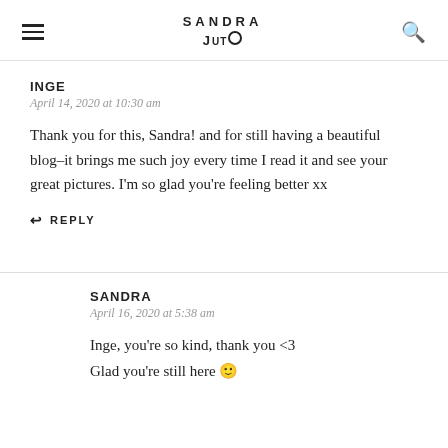SANDRA JUTO
INGE
April 14, 2020 at 10:30 am
Thank you for this, Sandra! and for still having a beautiful blog–it brings me such joy every time I read it and see your great pictures. I'm so glad you're feeling better xx
↩ REPLY
SANDRA
April 16, 2020 at 5:38 am
Inge, you're so kind, thank you <3
Glad you're still here 🙂